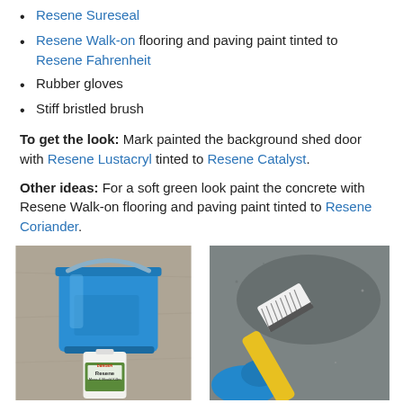Resene Sureseal
Resene Walk-on flooring and paving paint tinted to Resene Fahrenheit
Rubber gloves
Stiff bristled brush
To get the look: Mark painted the background shed door with Resene Lustacryl tinted to Resene Catalyst.
Other ideas: For a soft green look paint the concrete with Resene Walk-on flooring and paving paint tinted to Resene Coriander.
[Figure (photo): Blue bucket and a bottle of Resene product sitting on concrete surface]
[Figure (photo): Yellow-handled stiff bristle brush scrubbing a wet concrete surface, held by a blue rubber-gloved hand]